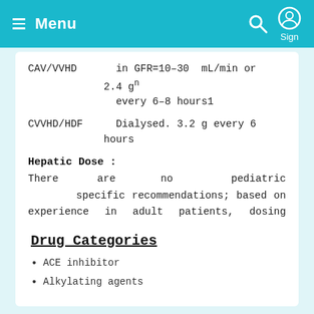Menu / Sign
|  |  |
| --- | --- |
| CAV/VVHD | in GFR=10-30 mL/min or 2.4 g every 6-8 hours1 |
| CVVHD/HDF | Dialysed. 3.2 g every 6 hours |
Hepatic Dose :
There are no pediatric specific recommendations; based on experience in adult patients, dosing adjustment suggested with concomitant renal dysfunction.
Drug Categories
ACE inhibitor
Alkylating agents